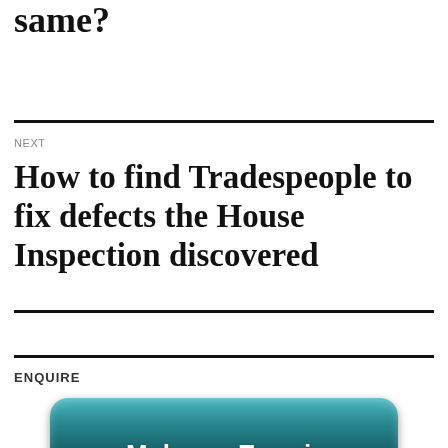House Inspectors Are they all the same?
NEXT
How to find Tradespeople to fix defects the House Inspection discovered
ENQUIRE
[Figure (illustration): A teal/dark cyan rounded button partially visible at the bottom of the page with white bold text reading 'Make an Enquiry' (partially cut off).]